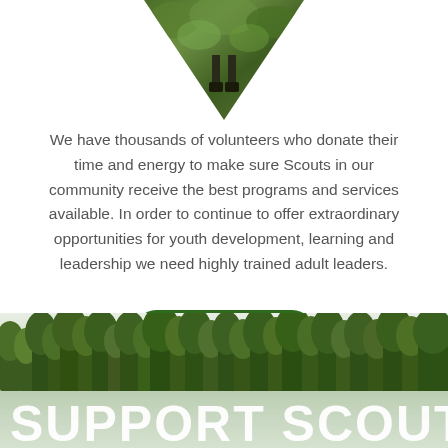[Figure (photo): A downward-pointing triangle (diamond/chevron shape) photo showing legs/boots of a person standing in green forest/nature setting, viewed from above]
We have thousands of volunteers who donate their time and energy to make sure Scouts in our community receive the best programs and services available. In order to continue to offer extraordinary opportunities for youth development, learning and leadership we need highly trained adult leaders.
TRAINING
[Figure (photo): A landscape photograph showing a tree line reflected in calm water, with the text 'SUPPORT SCOUTING' overlaid in large white bold letters at the bottom]